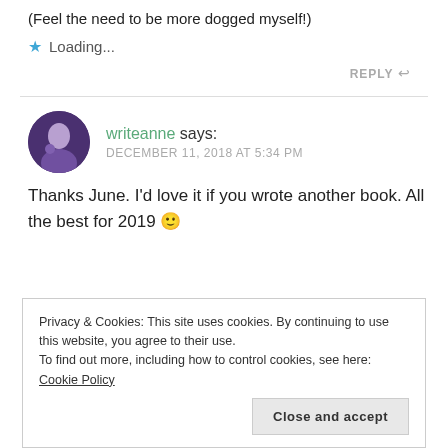(Feel the need to be more dogged myself!)
Loading...
REPLY
writeanne says: DECEMBER 11, 2018 AT 5:34 PM
Thanks June. I'd love it if you wrote another book. All the best for 2019 🙂
Privacy & Cookies: This site uses cookies. By continuing to use this website, you agree to their use.
To find out more, including how to control cookies, see here: Cookie Policy
Close and accept